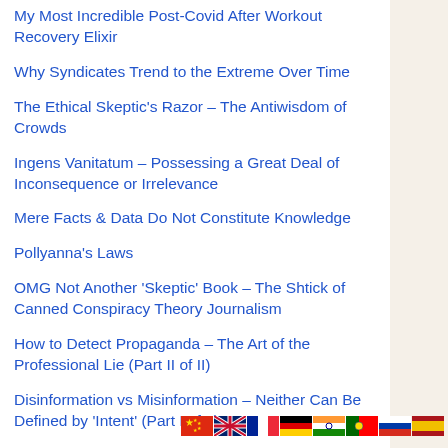My Most Incredible Post-Covid After Workout Recovery Elixir
Why Syndicates Trend to the Extreme Over Time
The Ethical Skeptic's Razor – The Antiwisdom of Crowds
Ingens Vanitatum – Possessing a Great Deal of Inconsequence or Irrelevance
Mere Facts & Data Do Not Constitute Knowledge
Pollyanna's Laws
OMG Not Another 'Skeptic' Book – The Shtick of Canned Conspiracy Theory Journalism
How to Detect Propaganda – The Art of the Professional Lie (Part II of II)
Disinformation vs Misinformation – Neither Can Be Defined by 'Intent' (Part I of II)
The Dunning Line (of Skepticism)
The Riddle of Sin
[Figure (illustration): Row of country flag icons: China, UK, France, Germany, India, Portugal, Russia, Spain]